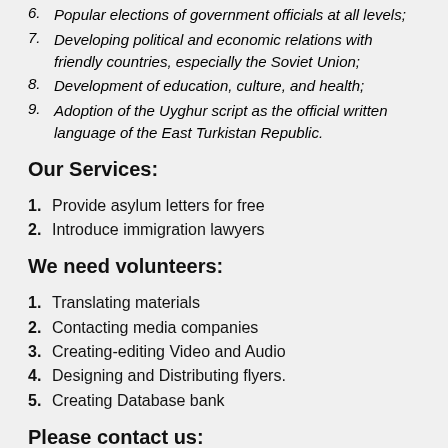6. Popular elections of government officials at all levels;
7. Developing political and economic relations with friendly countries, especially the Soviet Union;
8. Development of education, culture, and health;
9. Adoption of the Uyghur script as the official written language of the East Turkistan Republic.
Our Services:
1. Provide asylum letters for free
2. Introduce immigration lawyers
We need volunteers:
1. Translating materials
2. Contacting media companies
3. Creating-editing Video and Audio
4. Designing and Distributing flyers.
5. Creating Database bank
Please contact us: